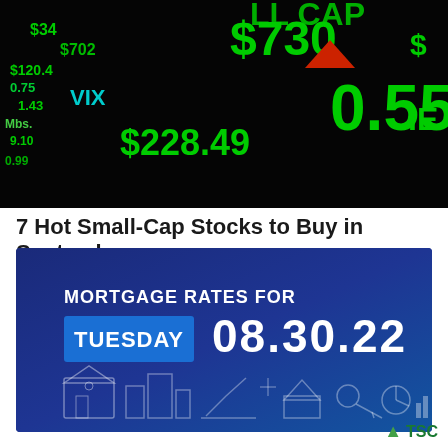[Figure (photo): Stock market ticker board showing green numbers and text including $730, $228.49, 0.55, ALL CAP with a downward red/dark triangle arrow indicator on a dark LED display background]
7 Hot Small-Cap Stocks to Buy in September
[Figure (infographic): Dark blue mortgage rates banner card showing 'MORTGAGE RATES FOR' in white uppercase text, with 'TUESDAY' in a bright blue rectangle badge and '08.30.22' in large white bold text. Bottom has white outline icons of houses, buildings, charts, keys, and pie charts.]
TSC